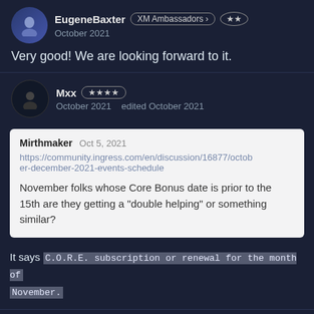EugeneBaxter XM Ambassadors ★★ October 2021
Very good! We are looking forward to it.
Mxx ★★★★ October 2021   edited October 2021
Mirthmaker  Oct 5, 2021
https://community.ingress.com/en/discussion/16877/october-december-2021-events-schedule
November folks whose Core Bonus date is prior to the 15th are they getting a "double helping" or something similar?
It says C.O.R.E. subscription or renewal for the month of November.